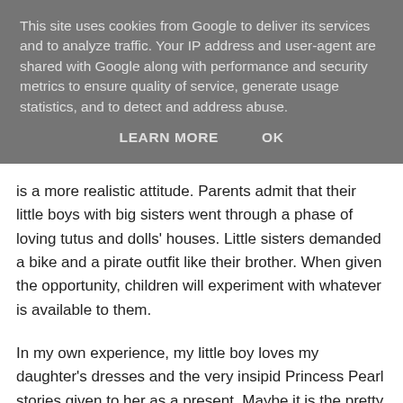This site uses cookies from Google to deliver its services and to analyze traffic. Your IP address and user-agent are shared with Google along with performance and security metrics to ensure quality of service, generate usage statistics, and to detect and address abuse.
LEARN MORE   OK
is a more realistic attitude. Parents admit that their little boys with big sisters went through a phase of loving tutus and dolls' houses. Little sisters demanded a bike and a pirate outfit like their brother. When given the opportunity, children will experiment with whatever is available to them.
In my own experience, my little boy loves my daughter's dresses and the very insipid Princess Pearl stories given to her as a present. Maybe it is the pretty flowing illustrations of underwater scenes or the shiny fake pearl on the cover. My daughter found an old Thomas the Tank Engine toy at Oxfam and went to sleep cuddled up to it every night after yet another thrilling tale about shifting freight around the island of Sodor. Heaven forbid if we'd lost “choochoo”! We all love